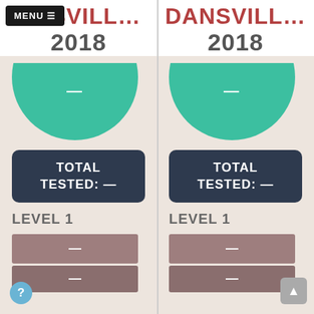DANSVILL...
2018
[Figure (infographic): Left panel: Dansville 2018 school data card. Teal circle (top half visible) with dash. Dark navy box: TOTAL TESTED: —. LEVEL 1 label. Two mauve/rose colored bars each with dash.]
DANSVILL...
2018
[Figure (infographic): Right panel: Dansville 2018 school data card. Teal circle (top half visible) with dash. Dark navy box: TOTAL TESTED: —. LEVEL 1 label. Two mauve/rose colored bars each with dash.]